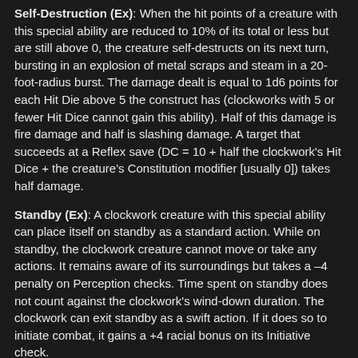Self-Destruction (Ex): When the hit points of a creature with this special ability are reduced to 10% of its total or less but are still above 0, the creature self-destructs on its next turn, bursting in an explosion of metal scraps and steam in a 20-foot-radius burst. The damage dealt is equal to 1d6 points for each Hit Die above 5 the construct has (clockworks with 5 or fewer Hit Dice cannot gain this ability). Half of this damage is fire damage and half is slashing damage. A target that succeeds at a Reflex save (DC = 10 + half the clockwork's Hit Dice + the creature's Constitution modifier [usually 0]) takes half damage.
Standby (Ex): A clockwork creature with this special ability can place itself on standby as a standard action. While on standby, the clockwork creature cannot move or take any actions. It remains aware of its surroundings but takes a –4 penalty on Perception checks. Time spent on standby does not count against the clockwork's wind-down duration. The clockwork can exit standby as a swift action. If it does so to initiate combat, it gains a +4 racial bonus on its Initiative check.